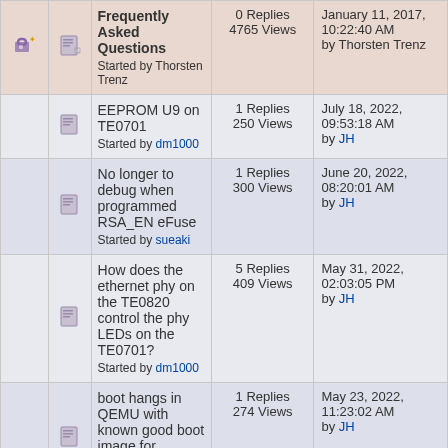|  |  | Topic | Stats | Last Post |
| --- | --- | --- | --- | --- |
| [pin icon] | [page icon] | Frequently Asked Questions
Started by Thorsten Trenz | 0 Replies
4765 Views | January 11, 2017, 10:22:40 AM
by Thorsten Trenz |
|  | [page icon] | EEPROM U9 on TE0701
Started by dm1000 | 1 Replies
250 Views | July 18, 2022, 09:53:18 AM
by JH |
|  | [page icon] | No longer to debug when programmed RSA_EN eFuse
Started by sueaki | 1 Replies
300 Views | June 20, 2022, 08:20:01 AM
by JH |
|  | [page icon] | How does the ethernet phy on the TE0820 control the phy LEDs on the TE0701?
Started by dm1000 | 5 Replies
409 Views | May 31, 2022, 02:03:05 PM
by JH |
|  | [page icon] | boot hangs in QEMU with known good boot image for TE0820/TE0701
Started by dm1000 | 1 Replies
274 Views | May 23, 2022, 11:23:02 AM
by JH |
|  | [page icon] | TE0841 flash and DDR4
Started by slark | 8 Replies
514 Views | May 04, 2022, 08:01:37 AM
by JH |
|  | [page icon] | TEB0911 - real time clock (RTC) question/problem
Started by ... | 10 Replies
601 Views | April 27, 2022, 02:45:26 PM
... |